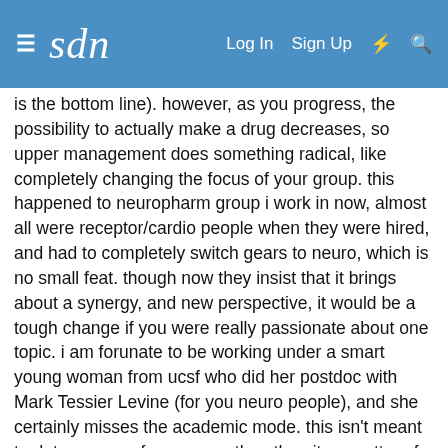sdn | Log In  Sign Up  ⚡  🔍
is the bottom line). however, as you progress, the possibility to actually make a drug decreases, so upper management does something radical, like completely changing the focus of your group. this happened to neuropharm group i work in now, almost all were receptor/cardio people when they were hired, and had to completely switch gears to neuro, which is no small feat. though now they insist that it brings about a synergy, and new perspective, it would be a tough change if you were really passionate about one topic. i am forunate to be working under a smart young woman from ucsf who did her postdoc with Mark Tessier Levine (for you neuro people), and she certainly misses the academic mode. this isn't meant to deter anyone from one or the other, its a matter of personal priorities; i would like to spend a decent amount of time on something that i have been trained to do, without worrying about the economic bottom line. i guess this brings us to another point, which is more social, should we be doing science by the german ideal of wissenschaft (pure science for the sake of science), or as Dr. Randolph Virchow of the University of Berlin (father of pathophysiology) in 1848 insisted, bringing not only the ability to effect change